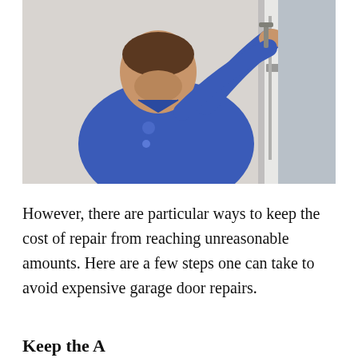[Figure (photo): A man in a blue work shirt/uniform using tools to repair a garage door mechanism, working on the track or hinge area near the top of a garage door.]
However, there are particular ways to keep the cost of repair from reaching unreasonable amounts. Here are a few steps one can take to avoid expensive garage door repairs.
Keep the A...